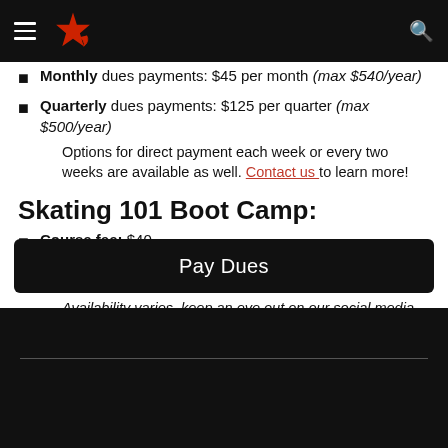Navigation bar with hamburger menu, logo, and search icon
Monthly dues payments: $45 per month (max $540/year)
Quarterly dues payments: $125 per quarter (max $500/year)
Options for direct payment each week or every two weeks are available as well. Contact us to learn more!
Skating 101 Boot Camp:
Course fee: $40
Includes 6 weeks of training and admission to the Basic Skills practices.
Availability varies, keep an eye out on our social media and website for boot camp announcements
Pay Dues